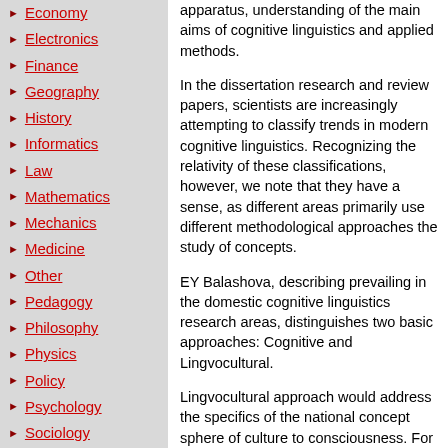Economy
Electronics
Finance
Geography
History
Informatics
Law
Mathematics
Mechanics
Medicine
Other
Pedagogy
Philosophy
Physics
Policy
Psychology
Sociology
Sport
Tourism
apparatus, understanding of the main aims of cognitive linguistics and applied methods.
In the dissertation research and review papers, scientists are increasingly attempting to classify trends in modern cognitive linguistics. Recognizing the relativity of these classifications, however, we note that they have a sense, as different areas primarily use different methodological approaches the study of concepts.
EY Balashova, describing prevailing in the domestic cognitive linguistics research areas, distinguishes two basic approaches: Cognitive and Lingvocultural.
Lingvocultural approach would address the specifics of the national concept sphere of culture to consciousness. For researchers working within Lingvocultural approach, EY S. Balashova refers Stepanov, VI Karasik, VV Red, VA Maslov, NF Alefirenko etc. This approach defines concept as the basic unit of culture that has the